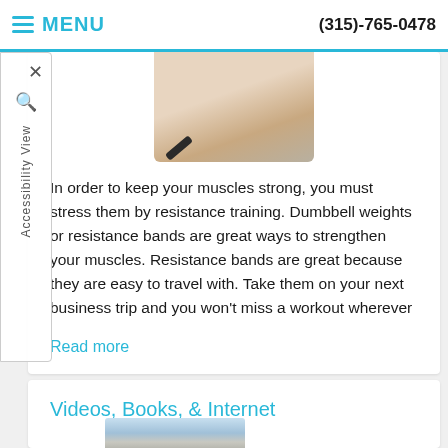MENU | (315)-765-0478
[Figure (photo): Photo of resistance bands or exercise equipment on a wooden floor surface]
In order to keep your muscles strong, you must stress them by resistance training. Dumbbell weights or resistance bands are great ways to strengthen your muscles. Resistance bands are great because they are easy to travel with. Take them on your next business trip and you won't miss a workout wherever
Read more
Videos, Books, & Internet
[Figure (photo): Photo of a person using a TV or screen, watching exercise/fitness content]